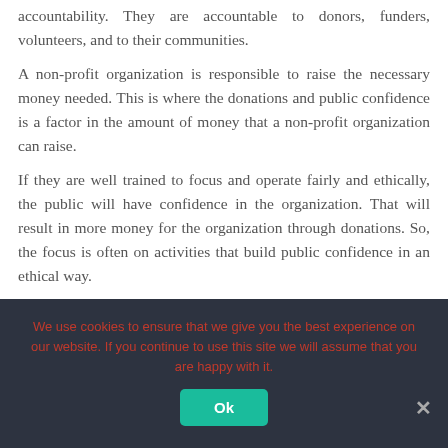accountability. They are accountable to donors, funders, volunteers, and to their communities.
A non-profit organization is responsible to raise the necessary money needed. This is where the donations and public confidence is a factor in the amount of money that a non-profit organization can raise.
If they are well trained to focus and operate fairly and ethically, the public will have confidence in the organization. That will result in more money for the organization through donations. So, the focus is often on activities that build public confidence in an ethical way.
We use cookies to ensure that we give you the best experience on our website. If you continue to use this site we will assume that you are happy with it.